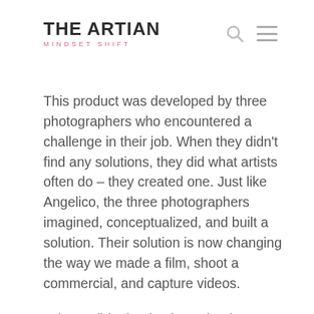[Figure (logo): The Artian Mindset Shift logo — bold black uppercase text 'THE ARTIAN' with pink subtitle 'MINDSET SHIFT' beneath it]
This product was developed by three photographers who encountered a challenge in their job. When they didn’t find any solutions, they did what artists often do – they created one. Just like Angelico, the three photographers imagined, conceptualized, and built a solution. Their solution is now changing the way we made a film, shoot a commercial, and capture videos.
Is it possible that business leaders are